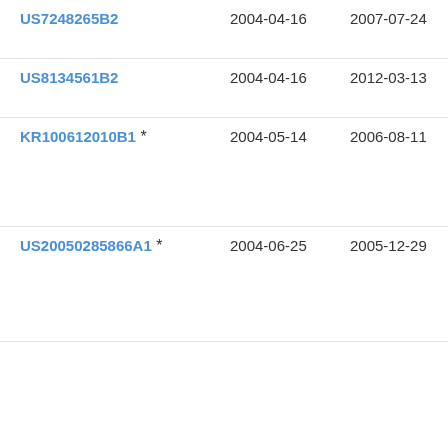| Patent | Filed | Published | Applicant |
| --- | --- | --- | --- |
| US7248265B2 | 2004-04-16 | 2007-07-24 | App |
| US8134561B2 | 2004-04-16 | 2012-03-13 | App |
| KR100612010B1 * | 2004-05-14 | 2006-08-11 | □□□□ |
| US20050285866A1 * | 2004-06-25 | 2005-12-29 | App Cor Inc |